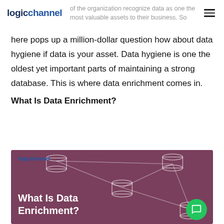logichannel
of the organization recognize data as one the most valuable assets to their business. So
here pops up a million-dollar question how about data hygiene if data is your asset. Data hygiene is one the oldest yet important parts of maintaining a strong database. This is where data enrichment comes in.
What Is Data Enrichment?
[Figure (illustration): Infographic with purple/mauve background showing database cylinder icons connected by lines, logichannel logo in blue at top left, and white text reading 'What Is Data Enrichment?' at bottom left. A green chat bubble button appears in the bottom right corner.]